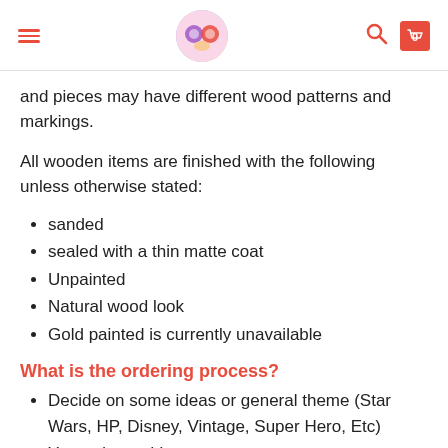[navigation header with menu, logo, search, and cart icons]
and pieces may have different wood patterns and markings.
All wooden items are finished with the following unless otherwise stated:
sanded
sealed with a thin matte coat
Unpainted
Natural wood look
Gold painted is currently unavailable
What is the ordering process?
Decide on some ideas or general theme (Star Wars, HP, Disney, Vintage, Super Hero, Etc)
You order and I put you on my queue